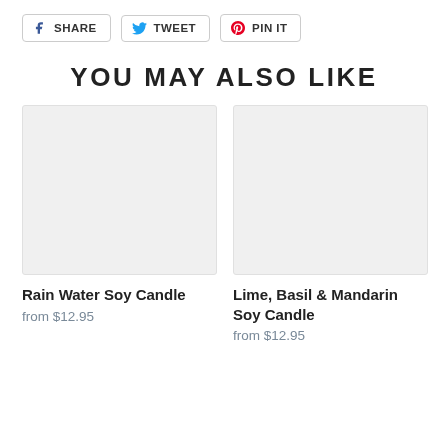[Figure (other): Social share buttons row: SHARE (Facebook), TWEET (Twitter), PIN IT (Pinterest)]
YOU MAY ALSO LIKE
[Figure (photo): Rain Water Soy Candle product image placeholder (light gray box)]
Rain Water Soy Candle
from $12.95
[Figure (photo): Lime, Basil & Mandarin Soy Candle product image placeholder (light gray box)]
Lime, Basil & Mandarin Soy Candle
from $12.95